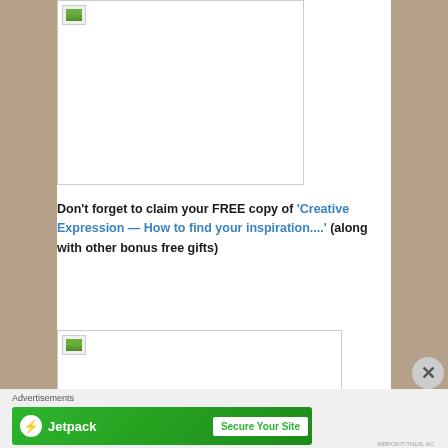[Figure (photo): Broken/missing image placeholder box at top of content area]
Don't forget to claim your FREE copy of 'Creative Expression — How to find your inspiration....' (along with other bonus free gifts)
[Figure (photo): Broken/missing image placeholder box below the text block]
Advertisements
[Figure (screenshot): Jetpack advertisement banner with green background showing 'Jetpack' logo and 'Secure Your Site' button]